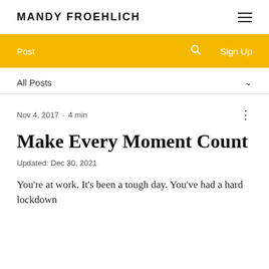MANDY FROEHLICH
[Figure (screenshot): Navigation bar with yellow background containing Post, search icon, and Sign Up links]
All Posts ∨
Nov 4, 2017 · 4 min
Make Every Moment Count
Updated: Dec 30, 2021
You're at work. It's been a tough day. You've had a hard lockdown